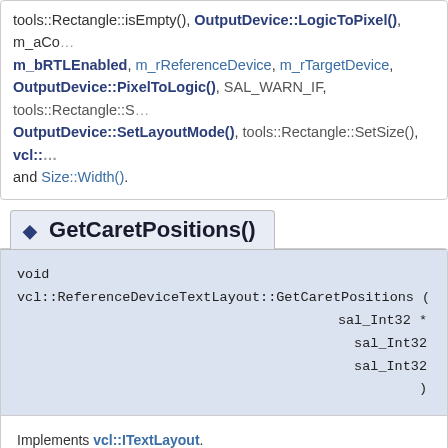tools::Rectangle::isEmpty(), OutputDevice::LogicToPixel(), m_aCo... m_bRTLEnabled, m_rReferenceDevice, m_rTargetDevice, OutputDevice::PixelToLogic(), SAL_WARN_IF, tools::Rectangle::S... OutputDevice::SetLayoutMode(), tools::Rectangle::SetSize(), vcl::... and Size::Width().
◆ GetCaretPositions()
void vcl::ReferenceDeviceTextLayout::GetCaretPositions ( const OUString... sal_Int32 * sal_Int32 sal_Int32 )
Implements vcl::ITextLayout.
Definition at line 217 of file textlayout.cxx.